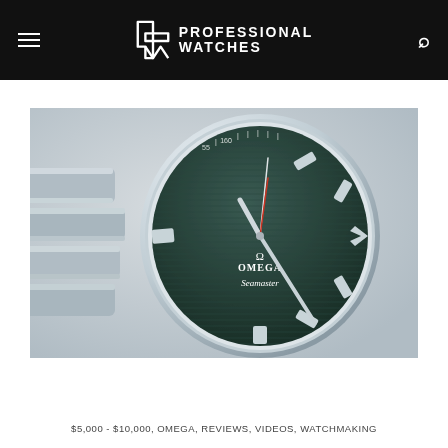PROFESSIONAL WATCHES
[Figure (photo): Close-up macro photograph of an Omega Seamaster watch with dark teal/green horizontal-lined dial, silver hands including red-tipped seconds hand, silver applied indices, and stainless steel bracelet and case.]
$5,000 - $10,000, OMEGA, REVIEWS, VIDEOS, WATCHMAKING